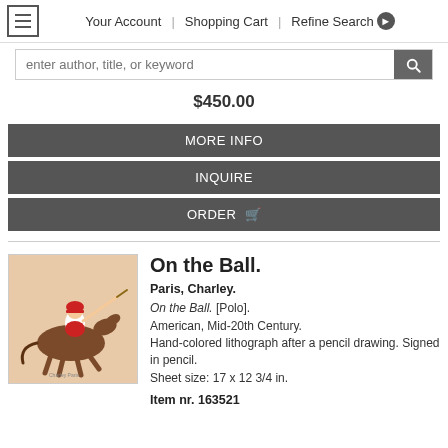Your Account | Shopping Cart | Refine Search
$450.00
MORE INFO
INQUIRE
ORDER
On the Ball.
Paris, Charley.
On the Ball. [Polo].
American, Mid-20th Century.
Hand-colored lithograph after a pencil drawing. Signed in pencil.
Sheet size: 17 x 12 3/4 in.
Item nr. 163521